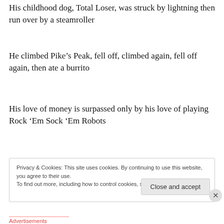His childhood dog, Total Loser, was struck by lightning then run over by a steamroller
He climbed Pike’s Peak, fell off, climbed again, fell off again, then ate a burrito
His love of money is surpassed only by his love of playing Rock ‘Em Sock ‘Em Robots
[Figure (other): Blue advertisement banner]
REPORT THIS AD
Privacy & Cookies: This site uses cookies. By continuing to use this website, you agree to their use.
To find out more, including how to control cookies, see here: Cookie Policy
Close and accept
Advertisements